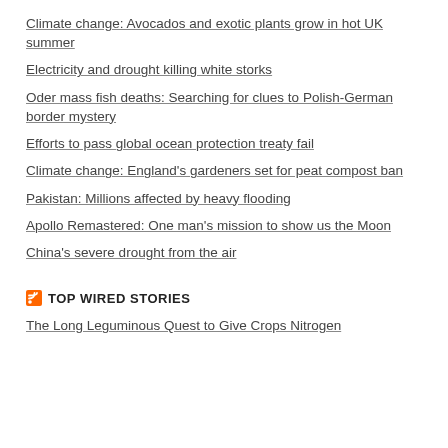Climate change: Avocados and exotic plants grow in hot UK summer
Electricity and drought killing white storks
Oder mass fish deaths: Searching for clues to Polish-German border mystery
Efforts to pass global ocean protection treaty fail
Climate change: England's gardeners set for peat compost ban
Pakistan: Millions affected by heavy flooding
Apollo Remastered: One man's mission to show us the Moon
China's severe drought from the air
TOP WIRED STORIES
The Long Leguminous Quest to Give Crops Nitrogen